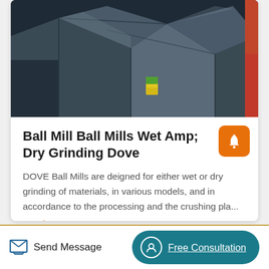[Figure (photo): Industrial ball mill or metal grinding machine partially visible — large metal structure with angular steel panels, one small yellow-green container/can visible at base, orange/red element on right edge, dark background]
Ball Mill Ball Mills Wet Amp; Dry Grinding Dove
DOVE Ball Mills are deigned for either wet or dry grinding of materials, in various models, and in accordance to the processing and the crushing pla...
Read More
Send Message
Free Consultation